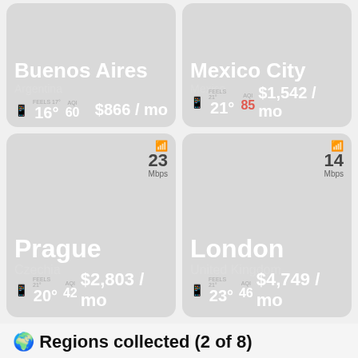[Figure (infographic): City card: Buenos Aires, Argentina. Temperature 16°, AQI 60, $866/mo]
[Figure (infographic): City card: Mexico City, Mexico. Temperature 21°, AQI 85 (red), $1,542/mo]
[Figure (infographic): City card: Prague, Czechia. WiFi 23 Mbps, Temperature 20°, AQI 42, $2,803/mo]
[Figure (infographic): City card: London, United Kingdom. WiFi 14 Mbps, Temperature 23°, AQI 46, $4,749/mo]
🌍 Regions collected (2 of 8)
USD – $   °C   Nomad cost
Messages